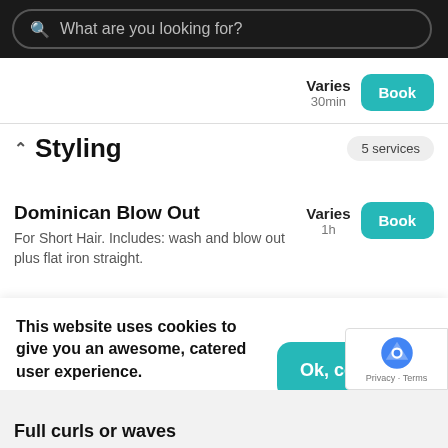What are you looking for?
Varies
30min
^ Styling   5 services
Dominican Blow Out
For Short Hair. Includes: wash and blow out plus flat iron straight.
Varies 1h
This website uses cookies to give you an awesome, catered user experience.
Continuing on after seeing this message means that you're cool with that.
Ok, continue
Full curls or waves